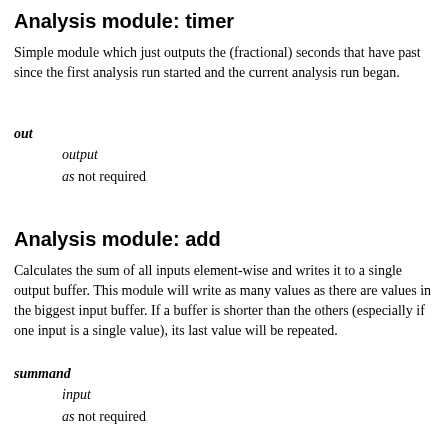Analysis module: timer
Simple module which just outputs the (fractional) seconds that have past since the first analysis run started and the current analysis run began.
out
output
as not required
Analysis module: add
Calculates the sum of all inputs element-wise and writes it to a single output buffer. This module will write as many values as there are values in the biggest input buffer. If a buffer is shorter than the others (especially if one input is a single value), its last value will be repeated.
summand
input
as not required